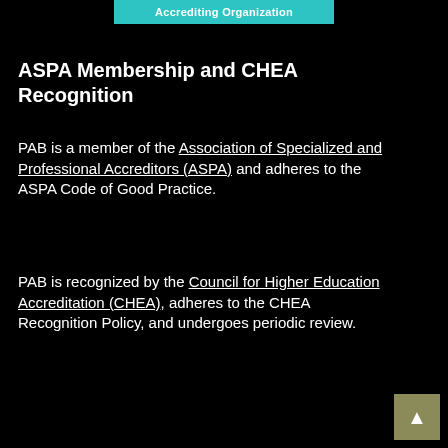Accrediting Organization
ASPA Membership and CHEA Recognition
PAB is a member of the Association of Specialized and Professional Accreditors (ASPA) and adheres to the ASPA Code of Good Practice.
PAB is recognized by the Council for Higher Education Accreditation (CHEA), adheres to the CHEA Recognition Policy, and undergoes periodic review.